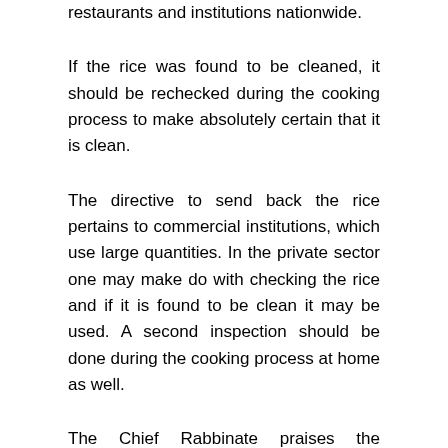restaurants and institutions nationwide.
If the rice was found to be cleaned, it should be rechecked during the cooking process to make absolutely certain that it is clean.
The directive to send back the rice pertains to commercial institutions, which use large quantities. In the private sector one may make do with checking the rice and if it is found to be clean it may be used. A second inspection should be done during the cooking process at home as well.
The Chief Rabbinate praises the mashgichim who discovered the infestation. Rabbi Yaakov Sabag, who is the CEO of the Nationwide Kashrus adds “we received a number of reports simultaneously from a number of locations throughout Israel. From our perspective, this is an illustration that the training works and the alert professional mashgichim are doing their jobs. This testifies to the need of a nationwide kashrus system and it is a real privilege to prevent this stumbling block from the public at large.”